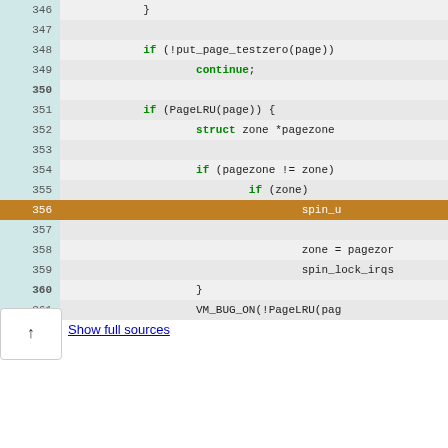[Figure (screenshot): Source code viewer showing C kernel code lines 346-366 with line numbers, syntax highlighting in green for keywords, and line 356 highlighted in orange/brown background.]
Show full sources